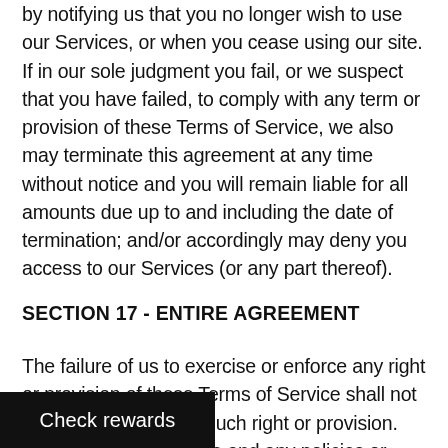by notifying us that you no longer wish to use our Services, or when you cease using our site. If in our sole judgment you fail, or we suspect that you have failed, to comply with any term or provision of these Terms of Service, we also may terminate this agreement at any time without notice and you will remain liable for all amounts due up to and including the date of termination; and/or accordingly may deny you access to our Services (or any part thereof).
SECTION 17 - ENTIRE AGREEMENT
The failure of us to exercise or enforce any right or provision of these Terms of Service shall not constitute a waiver of such right or provision. These Terms of Service and any policies or operating rules posted by us on this site or in respect to The Service constitutes the entire agreement and understanding between you and govern your use of the Service,